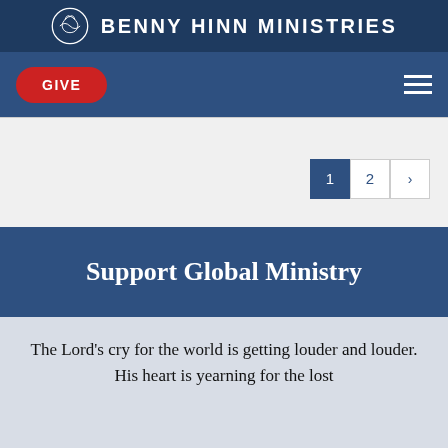BENNY HINN MINISTRIES
GIVE
1 2 ›
Support Global Ministry
The Lord's cry for the world is getting louder and louder. His heart is yearning for the lost